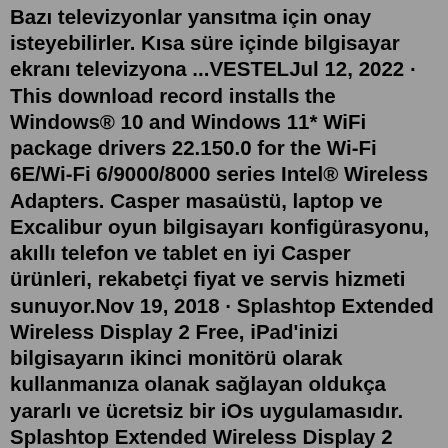Bazı televizyonlar yansıtma için onay isteyebilirler. Kısa süre içinde bilgisayar ekranı televizyona ...VESTELJul 12, 2022 · This download record installs the Windows® 10 and Windows 11* WiFi package drivers 22.150.0 for the Wi-Fi 6E/Wi-Fi 6/9000/8000 series Intel® Wireless Adapters. Casper masaüstü, laptop ve Excalibur oyun bilgisayarı konfigürasyonu, akıllı telefon ve tablet en iyi Casper ürünleri, rekabetçi fiyat ve servis hizmeti sunuyor.Nov 19, 2018 · Splashtop Extended Wireless Display 2 Free, iPad'inizi bilgisayarın ikinci monitörü olarak kullanmanıza olanak sağlayan oldukça yararlı ve ücretsiz bir iOs uygulamasıdır. Splashtop Extended Wireless Display 2 Free, bilgisayar kullanımınızı daha verimli hale getirmek için tasarlanmış ve daha iyi iş yapabilme tercihleri sunan ... First, you need to add the wireless display to Windows 10. Next, connect to it from the Project menu. First, press "Win + P" to open the Project menu. Here, click on the " Connect to a wireless display " link. Now, click on the " Find other types of devices " link at the bottom. Click on